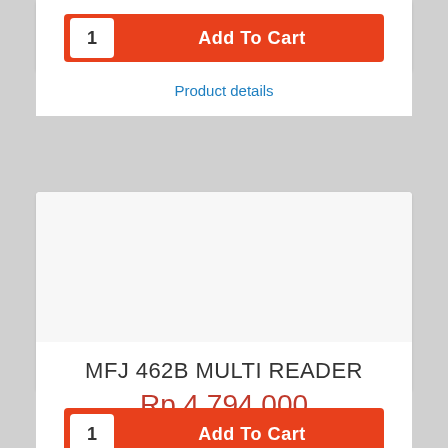[Figure (screenshot): Partial product card at top with Add To Cart button and quantity 1]
Product details
MFJ 462B MULTI READER
Rp 4.794.000
Add To Cart
Product details
[Figure (screenshot): Partial product card at bottom, image area only visible]